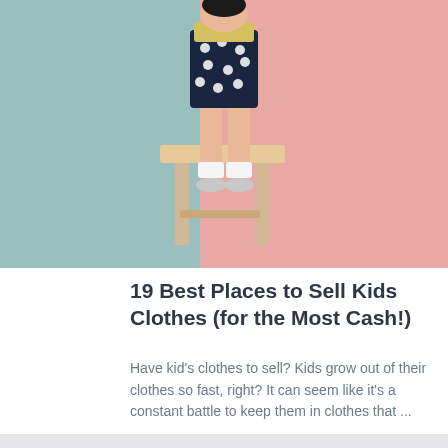[Figure (photo): A child standing on a wooden stool/chair, wearing a dark polka-dot dress and white sneakers, against a split pastel background of teal/green on the left and pink on the right.]
19 Best Places to Sell Kids Clothes (for the Most Cash!)
Have kid's clothes to sell? Kids grow out of their clothes so fast, right? It can seem like it's a constant battle to keep them in clothes that ...
- Continue -